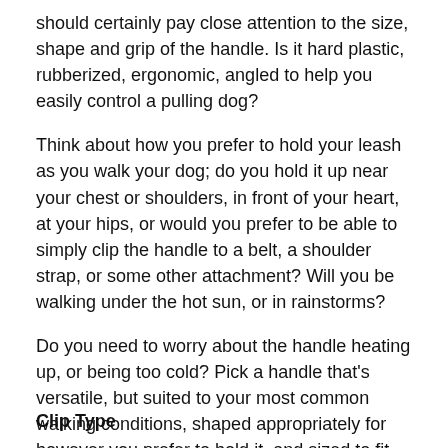should certainly pay close attention to the size, shape and grip of the handle. Is it hard plastic, rubberized, ergonomic, angled to help you easily control a pulling dog?
Think about how you prefer to hold your leash as you walk your dog; do you hold it up near your chest or shoulders, in front of your heart, at your hips, or would you prefer to be able to simply clip the handle to a belt, a shoulder strap, or some other attachment? Will you be walking under the hot sun, or in rainstorms?
Do you need to worry about the handle heating up, or being too cold? Pick a handle that's versatile, but suited to your most common walking conditions, shaped appropriately for however you prefer to hold it, and sized to fit comfortable in your hands.
Clip Type